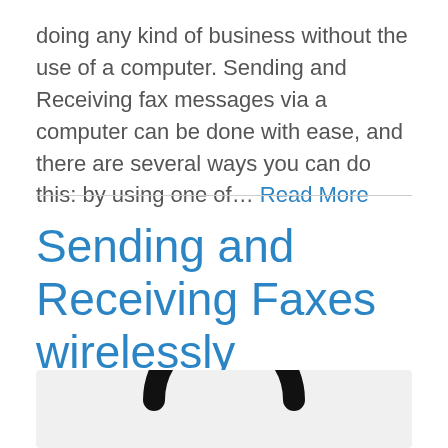doing any kind of business without the use of a computer. Sending and Receiving fax messages via a computer can be done with ease, and there are several ways you can do this: by using one of... Read More
Sending and Receiving Faxes wirelessly
[Figure (illustration): Partial view of a wireless/WiFi signal icon in black on a light grey background, showing the bottom arc portions of concentric signal arcs]